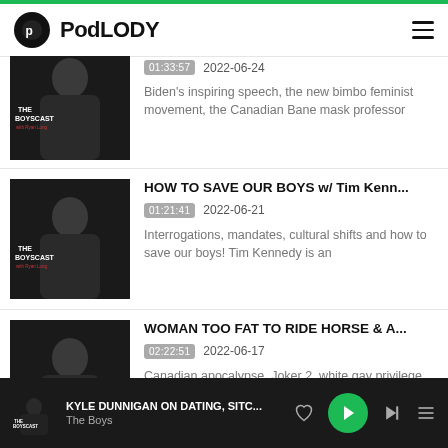PodLODY
[Figure (screenshot): Podcast episode thumbnail: The Boyscast with Ryan Long — man in black t-shirt on dark background]
01:33:57  2022-06-24
Biden's inspiring speech, the new bimbo feminist movement, the Canadian Bane mask professor
[Figure (screenshot): Podcast episode thumbnail: The Boyscast with Ryan Long — man in black t-shirt on dark background]
HOW TO SAVE OUR BOYS w/ Tim Kenn...
01:21:41  2022-06-21
Interrogations, mandates, cultural shifts and how to save our boys! Tim Kennedy is an
[Figure (screenshot): Podcast episode thumbnail: The Boyscast with Ryan Long — man in black t-shirt on dark background]
WOMAN TOO FAT TO RIDE HORSE & A...
02:22:51  2022-06-17
Canadian apocalypse, Joker 2, white gay privilege and ADAM22! Adam22 is a YouTuber
KYLE DUNNIGAN ON DATING, SITC...  The Boys